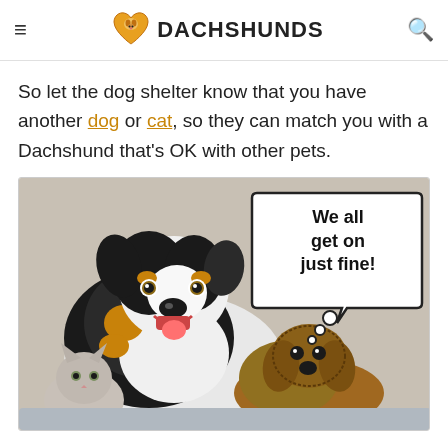I LOVE DACHSHUNDS
So let the dog shelter know that you have another dog or cat, so they can match you with a Dachshund that's OK with other pets.
[Figure (photo): Photo of a large fluffy dog, a dachshund puppy, and a small cat lying together, with a speech bubble saying 'We all get on just fine!']